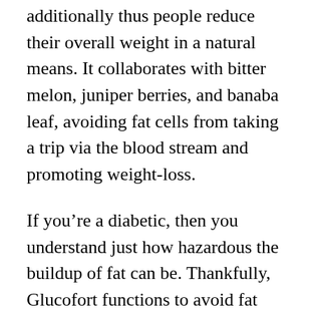additionally thus people reduce their overall weight in a natural means. It collaborates with bitter melon, juniper berries, and banaba leaf, avoiding fat cells from taking a trip via the blood stream and promoting weight-loss.
If you're a diabetic, then you understand just how hazardous the buildup of fat can be. Thankfully, Glucofort functions to avoid fat cells from taking a trip through the how low should blood sugar be and also keep blood sugar degrees within a regular range.
Glucofort works by damaging the ceramides